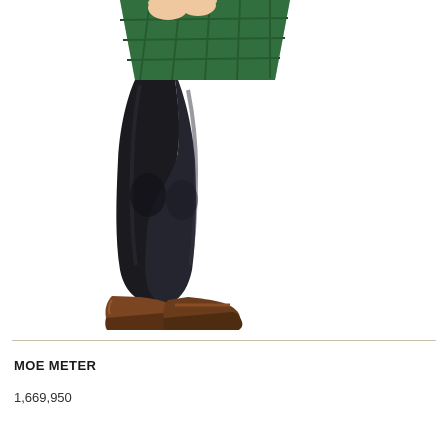[Figure (illustration): 3D rendered anime-style character showing lower body: green plaid skirt, black opaque tights/stockings, brown platform loafers. Character's hands are visible at top holding something. White background.]
MOE METER
1,669,950